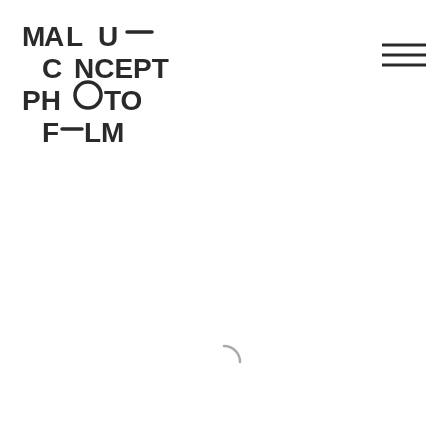[Figure (logo): MAL U— / C NCEPT / PHOTO / F—LM typographic logo in dark gray, with a dash/line replacing letters 'I' in 'FILM' and between 'MAL' and 'U', and 'O' in 'PHOTO' rendered as a circle outline]
[Figure (other): Hamburger menu icon: three horizontal lines stacked, dark gray, top-right area]
[Figure (other): Loading spinner: partial arc/crescent shape, light gray, centered lower portion of page]